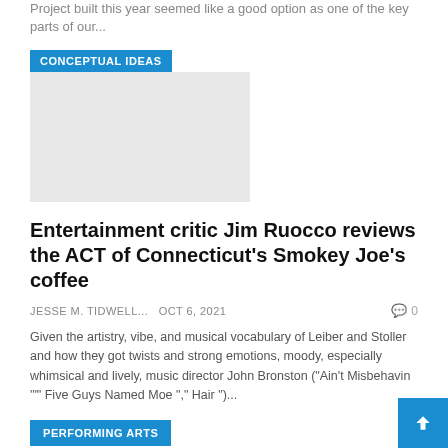Project built this year seemed like a good option as one of the key parts of our...
[Figure (other): Image placeholder under CONCEPTUAL IDEAS category badge, light grey rectangle]
Entertainment critic Jim Ruocco reviews the ACT of Connecticut's Smokey Joe's coffee
JESSE M. TIDWELL...   Oct 6, 2021   0
Given the artistry, vibe, and musical vocabulary of Leiber and Stoller and how they got twists and strong emotions, moody, especially whimsical and lively, music director John Bronston ("Ain't Misbehavin '"" Five Guys Named Moe "," Hair ")...
PERFORMING ARTS